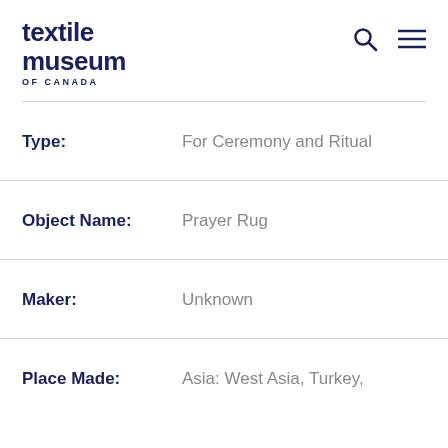textile museum OF CANADA
Type: For Ceremony and Ritual
Object Name: Prayer Rug
Maker: Unknown
Place Made: Asia: West Asia, Turkey,